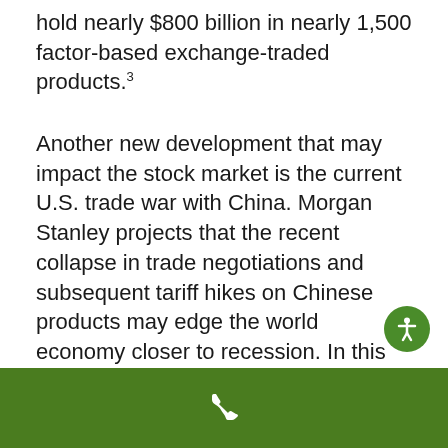hold nearly $800 billion in nearly 1,500 factor-based exchange-traded products.³
Another new development that may impact the stock market is the current U.S. trade war with China. Morgan Stanley projects that the recent collapse in trade negotiations and subsequent tariff hikes on Chinese products may edge the world economy closer to recession. In this scenario, the wealth manager anticipates that the Federal Reserve would drop the federal funds rate back to zero within a year.⁴